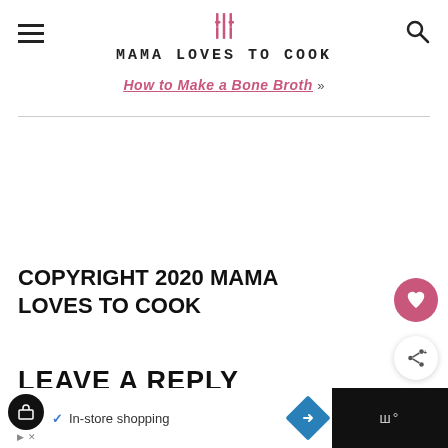MAMA LOVES TO COOK
How to Make a Bone Broth »
COPYRIGHT 2020 MAMA LOVES TO COOK
LEAVE A REPLY
In-store shopping [Ad bar]